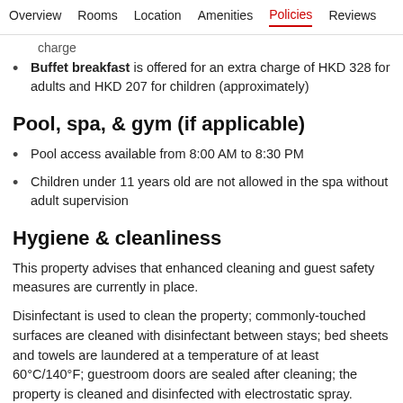Overview  Rooms  Location  Amenities  Policies  Reviews
charge
Buffet breakfast is offered for an extra charge of HKD 328 for adults and HKD 207 for children (approximately)
Pool, spa, & gym (if applicable)
Pool access available from 8:00 AM to 8:30 PM
Children under 11 years old are not allowed in the spa without adult supervision
Hygiene & cleanliness
This property advises that enhanced cleaning and guest safety measures are currently in place.
Disinfectant is used to clean the property; commonly-touched surfaces are cleaned with disinfectant between stays; bed sheets and towels are laundered at a temperature of at least 60°C/140°F; guestroom doors are sealed after cleaning; the property is cleaned and disinfected with electrostatic spray.
Personal protective equipment including...will be available...